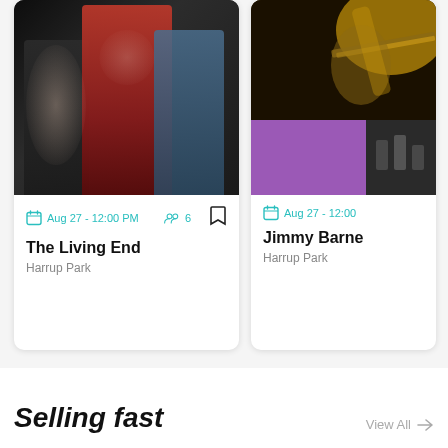[Figure (photo): Photo of three band members (The Living End) seated/posed against dark background; center figure in red plaid shirt, left in black jacket with sunglasses, right in denim jacket with hat]
Aug 27 - 12:00 PM  6
The Living End
Harrup Park
[Figure (photo): Top: yellow/gold tinted photo of guitarist; Bottom: purple block on left and sepia small photo on right]
Aug 27 - 12:00
Jimmy Barne
Harrup Park
Selling fast